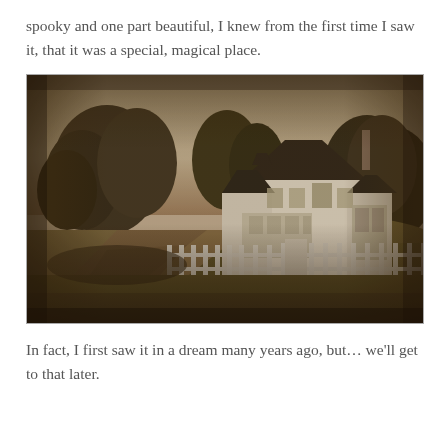spooky and one part beautiful, I knew from the first time I saw it, that it was a special, magical place.
[Figure (photo): Sepia-toned vintage photograph of a white Victorian-style farmhouse with a white picket fence along a dirt road, surrounded by trees. The image has a dark, moody, atmospheric quality.]
In fact, I first saw it in a dream many years ago, but… we'll get to that later.